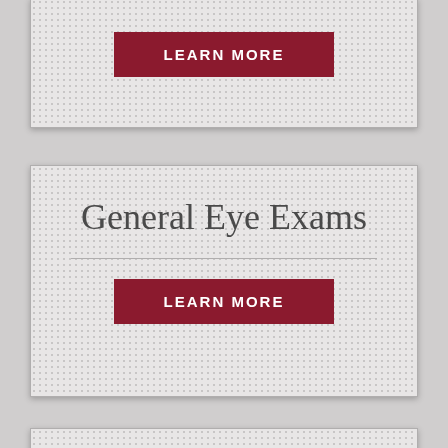[Figure (screenshot): Partially visible card with a dark red LEARN MORE button at top of page]
LEARN MORE
General Eye Exams
LEARN MORE
Custom LASIK
LEARN MORE